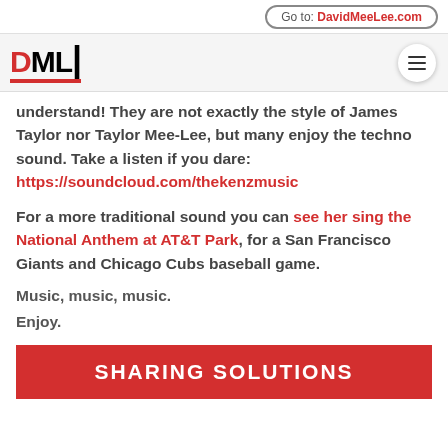Go to: DavidMeeLee.com
[Figure (logo): DML logo with red D and red underline, plus hamburger menu icon]
understand!  They are not exactly the style of James Taylor nor Taylor Mee-Lee, but many enjoy the techno sound.  Take a listen if you dare: https://soundcloud.com/thekenzmusic
For a more traditional sound you can see her sing the National Anthem at AT&T Park, for a San Francisco Giants and Chicago Cubs baseball game.
Music, music, music.
Enjoy.
SHARING SOLUTIONS